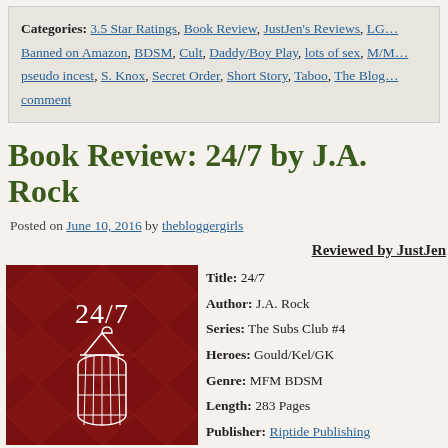Categories: 3.5 Star Ratings, Book Review, JustJen's Reviews, LG... Banned on Amazon, BDSM, Cult, Daddy/Boy Play, lots of sex, M/M... pseudo incest, S. Knox, Secret Order, Short Story, Taboo, The Blog... comment
Book Review: 24/7 by J.A. Rock
Posted on June 10, 2016 by thebloggergirls
Reviewed by JustJen
[Figure (illustration): Book cover for 24/7 by J.A. Rock — dark red background with diamond pattern, white line art of birdcage and hanger, text '24/7' in white serif font]
Title: 24/7
Author: J.A. Rock
Series: The Subs Club #4
Heroes: Gould/Kel/GK
Genre: MFM BDSM
Length: 283 Pages
Publisher: Riptide Publishing
Release Date: June 4, 2016
Available at: Amazon and Bar...